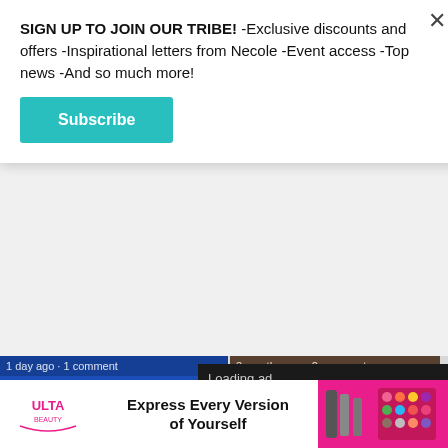SIGN UP TO JOIN OUR TRIBE! -Exclusive discounts and offers -Inspirational letters from Necole -Event access -Top news -And so much more!
Subscribe
Aoki Lee Simmons Defends Her ...
How I Broke Free From A 7-Year
Loading ad
[Figure (screenshot): Video ad player overlay showing loading spinner and playback controls (pause, fullscreen, mute) on black background]
[Figure (screenshot): Ulta Beauty banner advertisement: Express Every Version of Yourself]